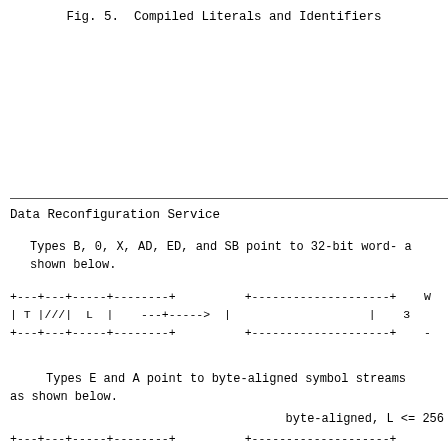Fig. 5.  Compiled Literals and Identifiers
Data Reconfiguration Service
Types B, 0, X, AD, ED, and SB point to 32-bit word- aligned objects as shown below.
[Figure (schematic): Diagram showing a box with fields T, ///, L pointing via arrow to a wide box representing a 32-bit word-aligned object]
Types E and A point to byte-aligned symbol streams as shown below.
byte-aligned, L <= 256
[Figure (schematic): Partial diagram showing start of another box structure for byte-aligned symbol streams]